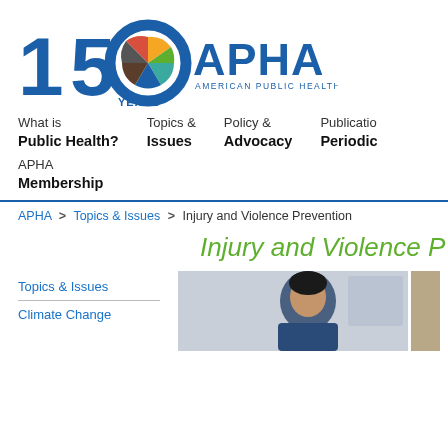[Figure (logo): APHA 150 Years logo with colorful pinwheel and 'AMERICAN PUBLIC HEALTH ASSOCIATION' text]
What is
Public Health?
Topics &
Issues
Policy &
Advocacy
Publications &
Periodicals
APHA
Membership
APHA > Topics & Issues > Injury and Violence Prevention
Injury and Violence P
Topics & Issues
Climate Change
[Figure (photo): Person in a blue jacket, possibly in a vehicle setting]